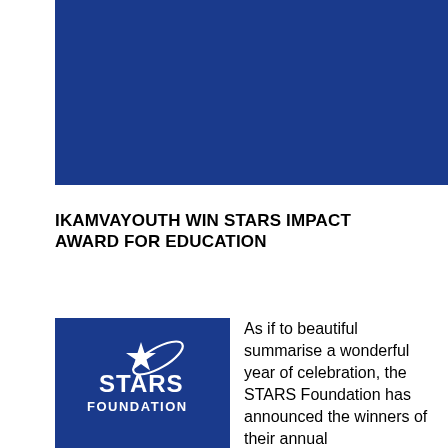[Figure (other): Solid dark blue rectangular banner at the top of the page]
IKAMVAYOUTH WIN STARS IMPACT AWARD FOR EDUCATION
[Figure (logo): STARS Foundation logo: white star and orbit arc above bold white text STARS FOUNDATION on a dark blue square background]
As if to beautiful summarise a wonderful year of celebration, the STARS Foundation has announced the winners of their annual